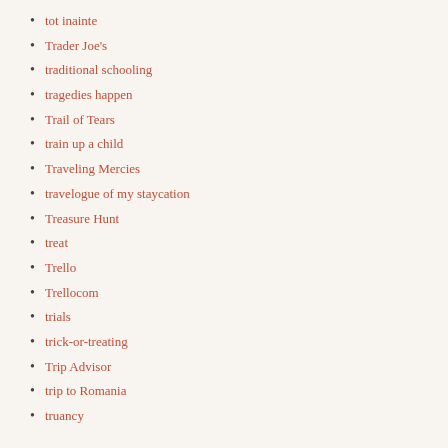tot inainte
Trader Joe's
traditional schooling
tragedies happen
Trail of Tears
train up a child
Traveling Mercies
travelogue of my staycation
Treasure Hunt
treat
Trello
Trellocom
trials
trick-or-treating
Trip Advisor
trip to Romania
truancy